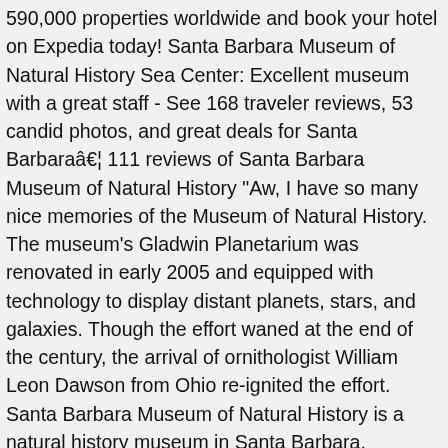590,000 properties worldwide and book your hotel on Expedia today! Santa Barbara Museum of Natural History Sea Center: Excellent museum with a great staff - See 168 traveler reviews, 53 candid photos, and great deals for Santa Barbaraâ… 111 reviews of Santa Barbara Museum of Natural History "Aw, I have so many nice memories of the Museum of Natural History. The museum's Gladwin Planetarium was renovated in early 2005 and equipped with technology to display distant planets, stars, and galaxies. Though the effort waned at the end of the century, the arrival of ornithologist William Leon Dawson from Ohio re-ignited the effort. Santa Barbara Museum of Natural History is a natural history museum in Santa Barbara, California. 92 reviews of Santa Barbara Museum of Natural History Sea Center "Extra star for the staff and volunteers who were SO friendly, helpful, and knowledgeable. Posted 4 weeks ago. Visitors to the Museum's campus may experience history through the signature exhibition, The Story of Santa Barbara, the historic adobes buildings onsite and also through the Gledhill Research Library. Santa Barbara Museum of